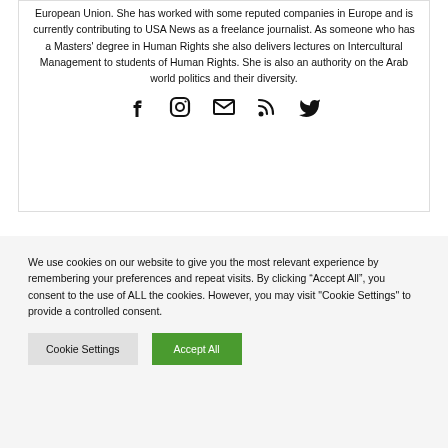European Union. She has worked with some reputed companies in Europe and is currently contributing to USA News as a freelance journalist. As someone who has a Masters' degree in Human Rights she also delivers lectures on Intercultural Management to students of Human Rights. She is also an authority on the Arab world politics and their diversity.
[Figure (other): Social media icons: Facebook, Instagram, Email/envelope, RSS feed, Twitter]
We use cookies on our website to give you the most relevant experience by remembering your preferences and repeat visits. By clicking “Accept All”, you consent to the use of ALL the cookies. However, you may visit "Cookie Settings" to provide a controlled consent.